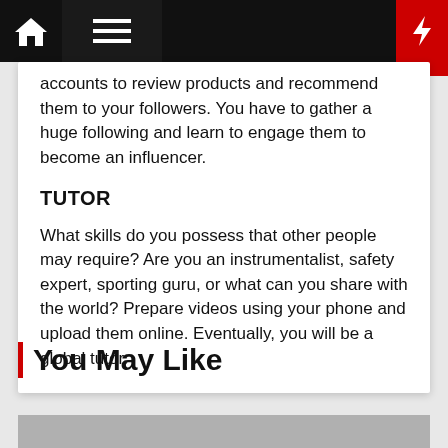Navigation bar with home, menu, and bolt icons
accounts to review products and recommend them to your followers. You have to gather a huge following and learn to engage them to become an influencer.
TUTOR
What skills do you possess that other people may require? Are you an instrumentalist, safety expert, sporting guru, or what can you share with the world? Prepare videos using your phone and upload them online. Eventually, you will be a global tutor.
You May Like
[Figure (photo): Gray image strip at the bottom of the page]